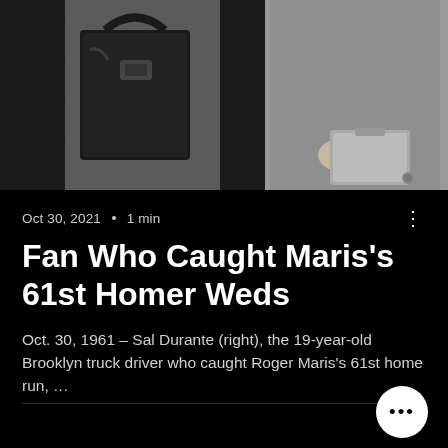[Figure (photo): Black and white photograph showing two people, one carrying a leather handbag and wearing a tweed coat, and the other holding a briefcase. Only the lower torsos and hands are visible.]
Oct 30, 2021 · 1 min
Fan Who Caught Maris's 61st Homer Weds
Oct. 30, 1961 – Sal Durante (right), the 19-year-old Brooklyn truck driver who caught Roger Maris's 61st home run, …